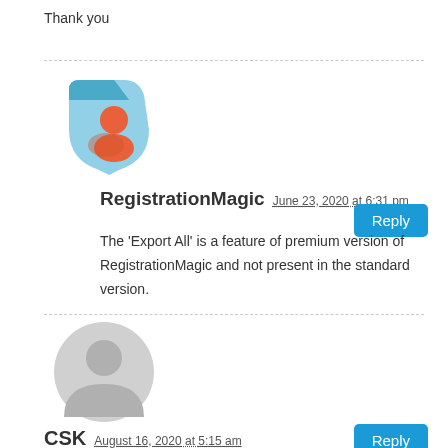Thank you
[Figure (logo): RegistrationMagic logo: blue shield/folder shape with orange person icon]
RegistrationMagic June 23, 2020 at 6:31 pm
The 'Export All' is a feature of premium version of RegistrationMagic and not present in the standard version.
[Figure (illustration): Default gray user avatar icon for CSK]
CSK August 16, 2020 at 5:15 am